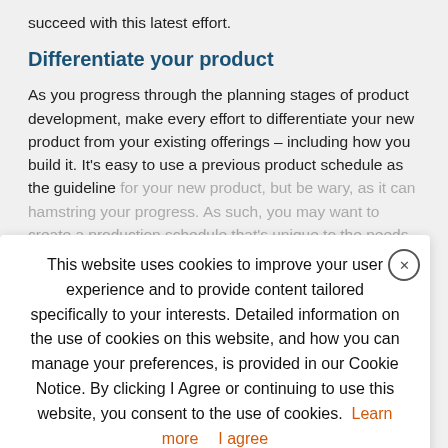succeed with this latest effort.
Differentiate your product
As you progress through the planning stages of product development, make every effort to differentiate your new product from your existing offerings – including how you build it. It's easy to use a previous product schedule as the guideline for your new product, but be wary, as it can hamstring your progress. As such, you may want to create a production schedule that's unique to the needs of the new product. You may find it strategically makes sense to build from the ground up.
This website uses cookies to improve your user experience and to provide content tailored specifically to your interests. Detailed information on the use of cookies on this website, and how you can manage your preferences, is provided in our Cookie Notice. By clicking I Agree or continuing to use this website, you consent to the use of cookies. Learn more   I agree
Should you opt to build from scratch, while it be potentially more daunting, doing so can eliminate constraints around the codebase you h